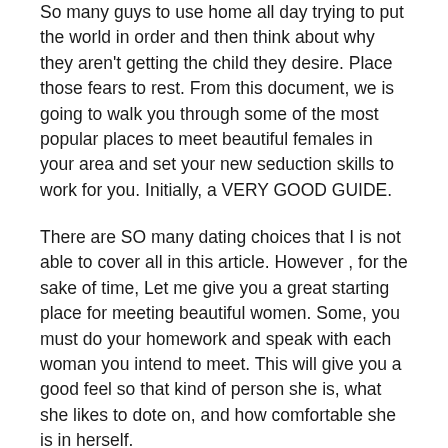So many guys to use home all day trying to put the world in order and then think about why they aren't getting the child they desire. Place those fears to rest. From this document, we is going to walk you through some of the most popular places to meet beautiful females in your area and set your new seduction skills to work for you. Initially, a VERY GOOD GUIDE.
There are SO many dating choices that I is not able to cover all in this article. However , for the sake of time, Let me give you a great starting place for meeting beautiful women. Some, you must do your homework and speak with each woman you intend to meet. This will give you a good feel so that kind of person she is, what she likes to dote on, and how comfortable she is in herself.